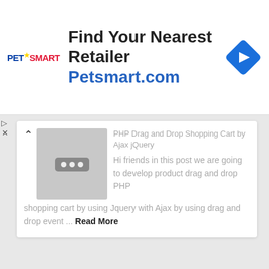[Figure (logo): PetSmart advertisement banner with logo, text 'Find Your Nearest Retailer Petsmart.com', and a blue diamond navigation icon]
PHP Drag and Drop Shopping Cart by Ajax jQuery
Hi friends in this post we are going to develop product drag and drop PHP shopping cart by using Jquery with Ajax by using drag and drop event ... Read More